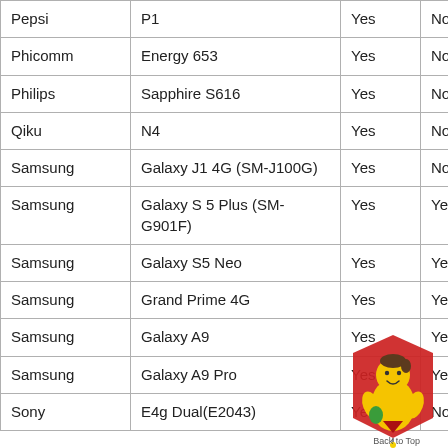| Pepsi | P1 | Yes | No |
| Phicomm | Energy 653 | Yes | No |
| Philips | Sapphire S616 | Yes | No |
| Qiku | N4 | Yes | No |
| Samsung | Galaxy J1 4G (SM-J100G) | Yes | No |
| Samsung | Galaxy S 5 Plus (SM-G901F) | Yes | Yes |
| Samsung | Galaxy S5 Neo | Yes | Yes |
| Samsung | Grand Prime 4G | Yes | Yes |
| Samsung | Galaxy A9 | Yes | Yes |
| Samsung | Galaxy A9 Pro | Yes | Yes |
| Sony | E4g Dual(E2043) | Yes | No |
[Figure (illustration): Back to Top mascot illustration — cartoon child in red and yellow outfit with a red arrow, with 'Back to Top' text below]